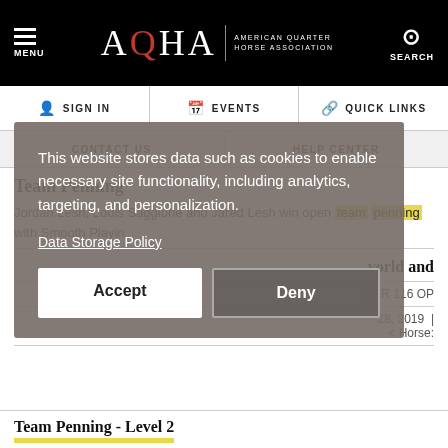MENU | AQHA AMERICAN QUARTER HORSE ASSOCIATION | SEARCH
SIGN IN | EVENTS | QUICK LINKS
CONTACT US | HELP CENTER
Team Penning
Jordan Lesh, Louis Saggione and Jared Lesh win open team penning with Smooth Playin
This website stores data such as cookies to enable necessary site functionality, including analytics, targeting, and personalization.
Data Storage Policy
Accept | Deny
Team Penning - Level 2